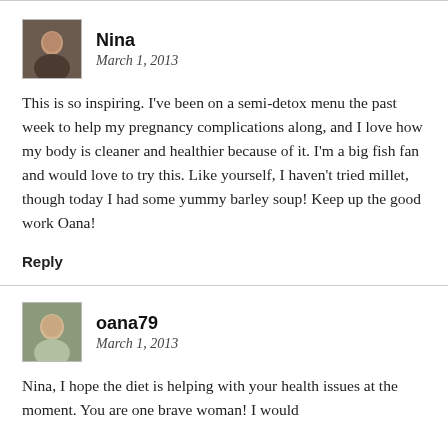Nina
March 1, 2013
This is so inspiring. I’ve been on a semi-detox menu the past week to help my pregnancy complications along, and I love how my body is cleaner and healthier because of it. I’m a big fish fan and would love to try this. Like yourself, I haven’t tried millet, though today I had some yummy barley soup! Keep up the good work Oana!
Reply
oana79
March 1, 2013
Nina, I hope the diet is helping with your health issues at the moment. You are one brave woman! I would